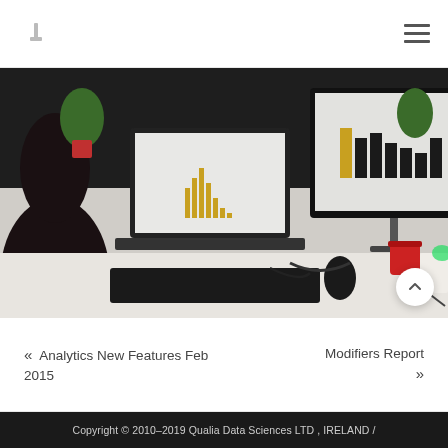[Logo icon] [Hamburger menu]
[Figure (photo): Person sitting at a desk with a laptop showing a histogram chart and a large external monitor displaying analytics dashboards with charts and data visualizations. A red coffee mug, keyboard, mouse, and notepad are on the desk. Green plants visible in the background.]
« Analytics New Features Feb 2015
Modifiers Report »
Copyright © 2010–2019 Qualia Data Sciences LTD , IRELAND /